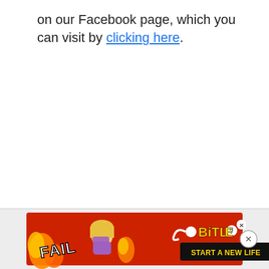on our Facebook page, which you can visit by clicking here.
[Figure (illustration): Advertisement banner for BitLife game. Red background with flame graphics, a cartoon blonde woman facepalming, text reading 'FAIL' in white bold rotated letters, sperm icon, BitLife logo in yellow with question mark and X circle icons, and black button reading 'START A NEW LIFE'.]